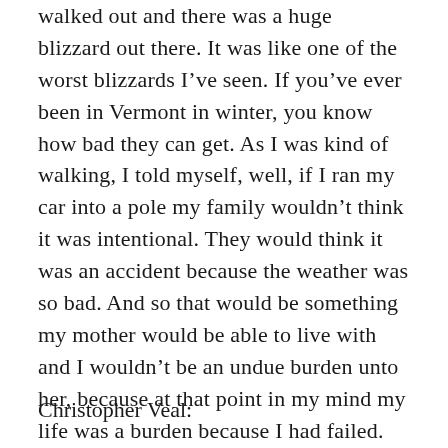walked out and there was a huge blizzard out there. It was like one of the worst blizzards I've seen. If you've ever been in Vermont in winter, you know how bad they can get. As I was kind of walking, I told myself, well, if I ran my car into a pole my family wouldn't think it was intentional. They would think it was an accident because the weather was so bad. And so that would be something my mother would be able to live with and I wouldn't be an undue burden unto her, because at that point in my mind my life was a burden because I had failed.
Christopher Veal: